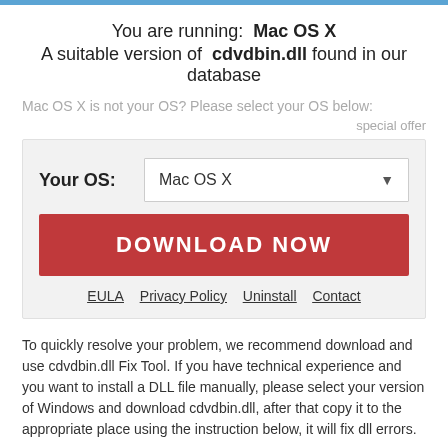You are running:  Mac OS X
A suitable version of  cdvdbin.dll found in our database
Mac OS X is not your OS? Please select your OS below:
special offer
[Figure (screenshot): A UI box with OS selector showing 'Mac OS X' and a red 'DOWNLOAD NOW' button, plus links: EULA, Privacy Policy, Uninstall, Contact]
To quickly resolve your problem, we recommend download and use cdvdbin.dll Fix Tool. If you have technical experience and you want to install a DLL file manually, please select your version of Windows and download cdvdbin.dll, after that copy it to the appropriate place using the instruction below, it will fix dll errors.